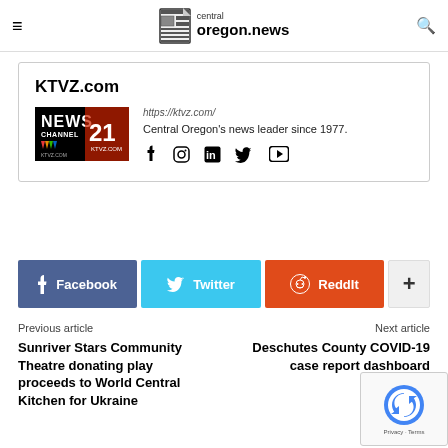central oregon.news
KTVZ.com
https://ktvz.com/
Central Oregon's news leader since 1977.
Facebook Twitter ReddIt +
Previous article
Sunriver Stars Community Theatre donating play proceeds to World Central Kitchen for Ukraine
Next article
Deschutes County COVID-19 case report dashboard